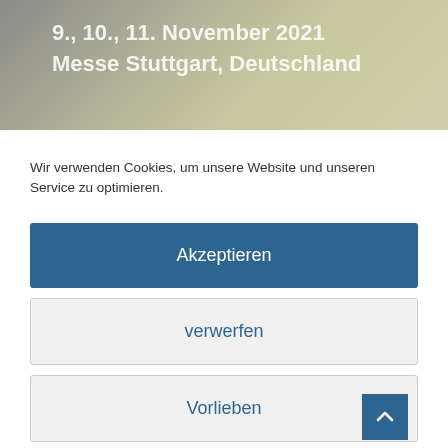9., 10., 11. November 2021
Messe Stuttgart, Deutschland
Wir verwenden Cookies, um unsere Website und unseren Service zu optimieren.
Akzeptieren
verwerfen
Vorlieben
Privacy policy  Imprint